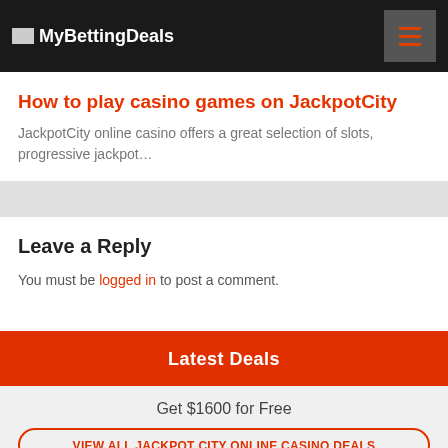MyBettingDeals
How to play casino games on JackpotCity
JackpotCity online casino offers a great selection of slots, progressive jackpot…
Leave a Reply
You must be logged in to post a comment.
Latest Deals
Get $1600 for Free
VIEW ALL JACKPOT CITY ONLINE CASINO DEALS